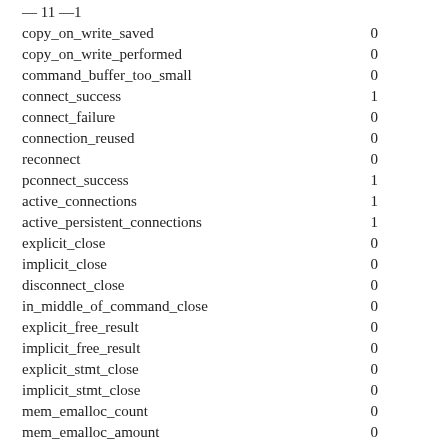| name | value |
| --- | --- |
| — 11 —1 |  |
| copy_on_write_saved | 0 |
| copy_on_write_performed | 0 |
| command_buffer_too_small | 0 |
| connect_success | 1 |
| connect_failure | 0 |
| connection_reused | 0 |
| reconnect | 0 |
| pconnect_success | 1 |
| active_connections | 1 |
| active_persistent_connections | 1 |
| explicit_close | 0 |
| implicit_close | 0 |
| disconnect_close | 0 |
| in_middle_of_command_close | 0 |
| explicit_free_result | 0 |
| implicit_free_result | 0 |
| explicit_stmt_close | 0 |
| implicit_stmt_close | 0 |
| mem_emalloc_count | 0 |
| mem_emalloc_amount | 0 |